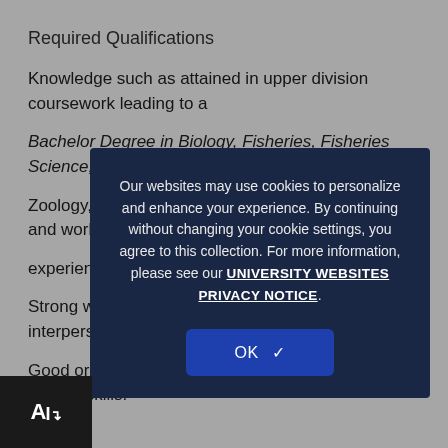Required Qualifications
Knowledge such as attained in upper division coursework leading to a
Bachelor Degree in Biology, Fisheries, Fisheries Science, Wildlife,
Zoology, or a related field; or equivalent education and work
experience
Strong written and verbal communication and interpersonal skills.
Good organizational, management and problem-solving skills.
[Figure (other): Cookie consent modal overlay on dark background with text: 'Our websites may use cookies to personalize and enhance your experience. By continuing without changing your cookie settings, you agree to this collection. For more information, please see our UNIVERSITY WEBSITES PRIVACY NOTICE.' and an OK button with checkmark.]